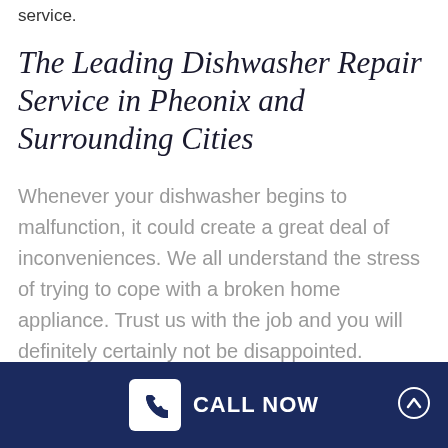service.
The Leading Dishwasher Repair Service in Pheonix and Surrounding Cities
Whenever your dishwasher begins to malfunction, it could create a great deal of inconveniences. We all understand the stress of trying to cope with a broken home appliance. Trust us with the job and you will definitely certainly not be disappointed.
CALL NOW